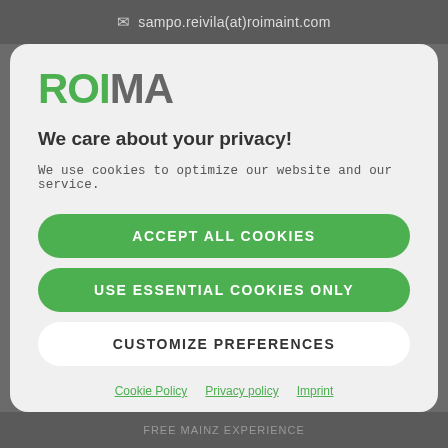sampo.reivila(at)roimaint.com
[Figure (logo): ROIMA logo with green ROI and grey MA text]
We care about your privacy!
We use cookies to optimize our website and our service.
ACCEPT ALL COOKIES
USE ESSENTIAL COOKIES ONLY
CUSTOMIZE PREFERENCES
Cookie Policy  Privacy policy  Imprint